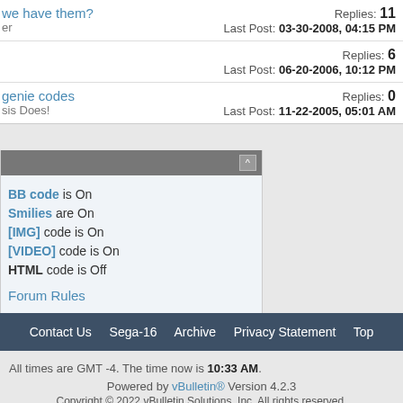Replies: 11 Last Post: 03-30-2008, 04:15 PM
Replies: 6 Last Post: 06-20-2006, 10:12 PM
genie codes | Replies: 0 Last Post: 11-22-2005, 05:01 AM
BB code is On
Smilies are On
[IMG] code is On
[VIDEO] code is On
HTML code is Off
Forum Rules
Contact Us  Sega-16  Archive  Privacy Statement  Top
All times are GMT -4. The time now is 10:33 AM.
Powered by vBulletin® Version 4.2.3
Copyright © 2022 vBulletin Solutions, Inc. All rights reserved.